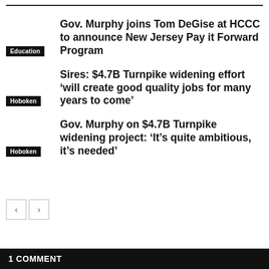Gov. Murphy joins Tom DeGise at HCCC to announce New Jersey Pay it Forward Program
Sires: $4.7B Turnpike widening effort ‘will create good quality jobs for many years to come’
Gov. Murphy on $4.7B Turnpike widening project: ‘It’s quite ambitious, it’s needed’
1 COMMENT